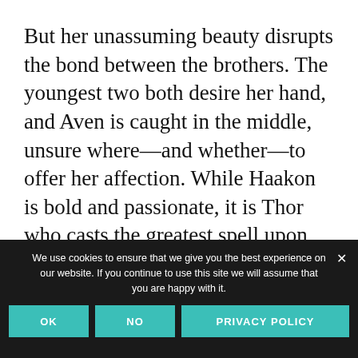But her unassuming beauty disrupts the bond between the brothers. The youngest two both desire her hand, and Aven is caught in the middle, unsure where—and whether—to offer her affection. While Haakon is bold and passionate, it is Thor who casts the greatest spell upon her. Though Deaf, mute, and dependent on hard drink to cope with his silent pain,
We use cookies to ensure that we give you the best experience on our website. If you continue to use this site we will assume that you are happy with it.
OK   NO   PRIVACY POLICY